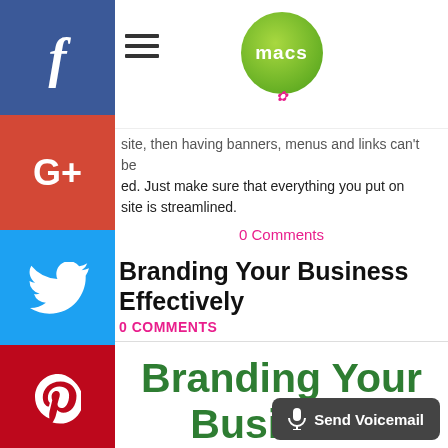macs (logo)
site, then having banners, menus and links can't be ed. Just make sure that everything you put on site is streamlined.
0 Comments
Branding Your Business Effectively
0 COMMENTS
Branding Your Business Effectively